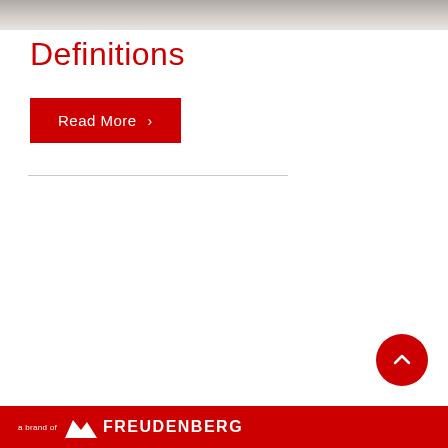[Figure (photo): Partial top banner image, grayscale/brownish photo of industrial or corporate scene, cropped at top of page]
Definitions
Read More >
[Figure (other): Red circular scroll-to-top button with upward chevron arrow]
a brand of FREUDENBERG